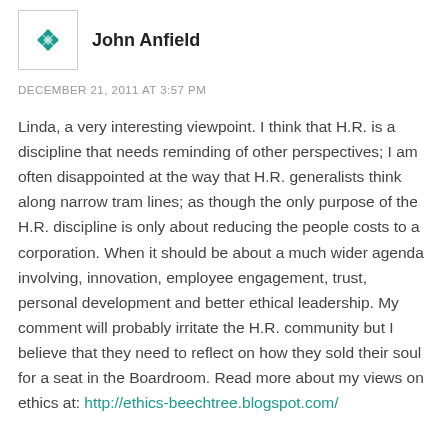[Figure (logo): Teal geometric diamond/cross pattern avatar icon in a bordered box]
John Anfield
DECEMBER 21, 2011 AT 3:57 PM
Linda, a very interesting viewpoint. I think that H.R. is a discipline that needs reminding of other perspectives; I am often disappointed at the way that H.R. generalists think along narrow tram lines; as though the only purpose of the H.R. discipline is only about reducing the people costs to a corporation. When it should be about a much wider agenda involving, innovation, employee engagement, trust, personal development and better ethical leadership. My comment will probably irritate the H.R. community but I believe that they need to reflect on how they sold their soul for a seat in the Boardroom. Read more about my views on ethics at: http://ethics-beechtree.blogspot.com/